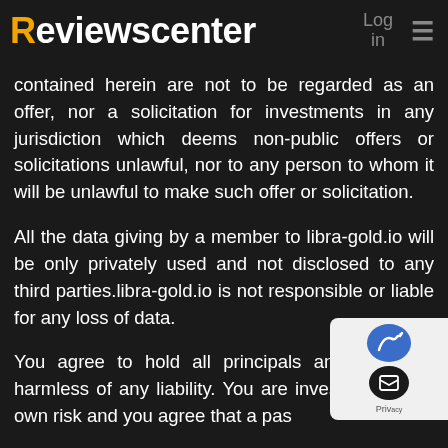Reviewscenter  Log in  ≡
contained herein are not to be regarded as an offer, nor a solicitation for investments in any jurisdiction which deems non-public offers or solicitations unlawful, nor to any person to whom it will be unlawful to make such offer or solicitation.
All the data giving by a member to libra-gold.io will be only privately used and not disclosed to any third parties.libra-gold.io is not responsible or liable for any loss of data.
You agree to hold all principals and members harmless of any liability. You are investing at your own risk and you agree that a past